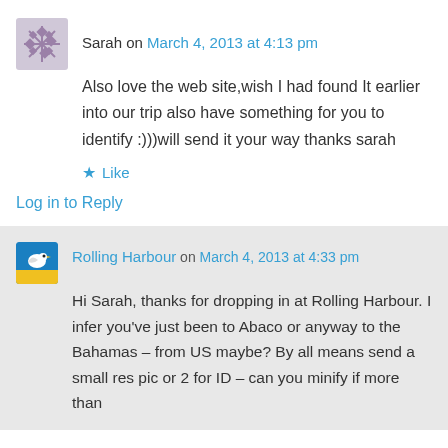Sarah on March 4, 2013 at 4:13 pm
Also love the web site,wish I had found It earlier into our trip also have something for you to identify :)))will send it your way thanks sarah
★ Like
Log in to Reply
Rolling Harbour on March 4, 2013 at 4:33 pm
Hi Sarah, thanks for dropping in at Rolling Harbour. I infer you've just been to Abaco or anyway to the Bahamas – from US maybe? By all means send a small res pic or 2 for ID – can you minify if more than